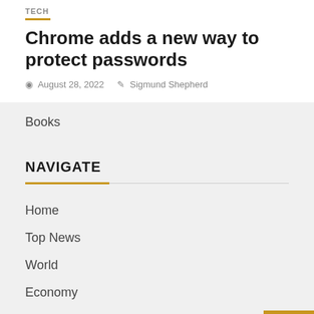TECH
Chrome adds a new way to protect passwords
August 28, 2022   Sigmund Shepherd
Books
NAVIGATE
Home
Top News
World
Economy
Science and Health
Technology